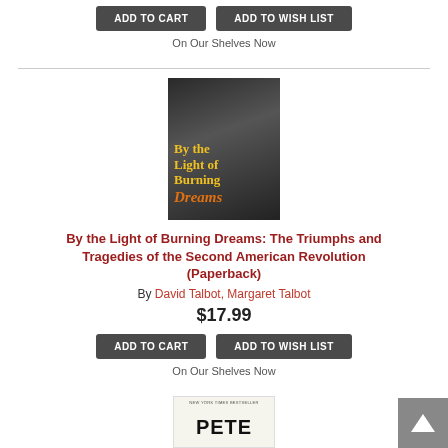[Figure (other): ADD TO CART and ADD TO WISH LIST buttons at top of page]
On Our Shelves Now
[Figure (photo): Book cover of 'By the Light of Burning Dreams' showing black and white crowd photo with yellow and orange title text]
By the Light of Burning Dreams: The Triumphs and Tragedies of the Second American Revolution (Paperback)
By David Talbot, Margaret Talbot
$17.99
[Figure (other): ADD TO CART and ADD TO WISH LIST buttons]
On Our Shelves Now
[Figure (photo): Partial book cover of Pete book visible at bottom of page]